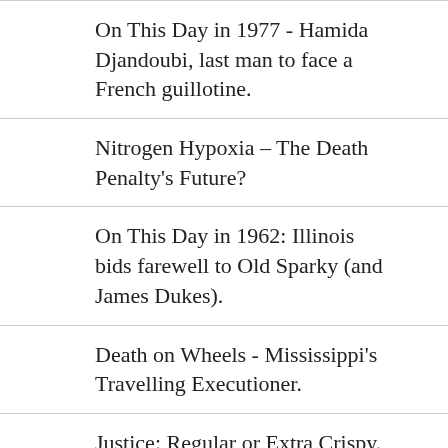On This Day in 1977 - Hamida Djandoubi, last man to face a French guillotine.
Nitrogen Hypoxia – The Death Penalty's Future?
On This Day in 1962: Illinois bids farewell to Old Sparky (and James Dukes).
Death on Wheels - Mississippi's Travelling Executioner.
Justice: Regular or Extra Crispy.